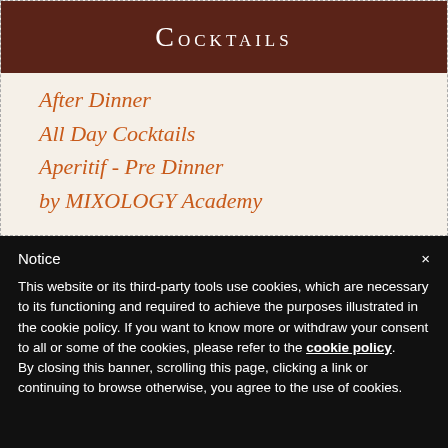Cocktails
After Dinner
All Day Cocktails
Aperitif - Pre Dinner
by MIXOLOGY Academy
Notice
This website or its third-party tools use cookies, which are necessary to its functioning and required to achieve the purposes illustrated in the cookie policy. If you want to know more or withdraw your consent to all or some of the cookies, please refer to the cookie policy.
By closing this banner, scrolling this page, clicking a link or continuing to browse otherwise, you agree to the use of cookies.